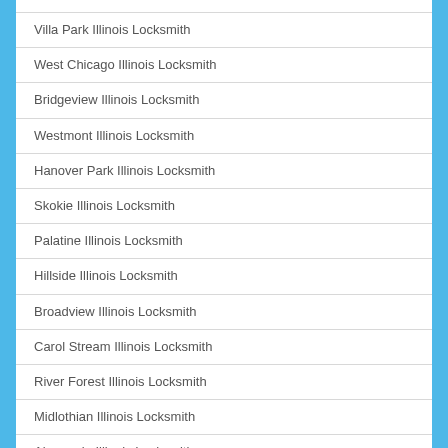Villa Park Illinois Locksmith
West Chicago Illinois Locksmith
Bridgeview Illinois Locksmith
Westmont Illinois Locksmith
Hanover Park Illinois Locksmith
Skokie Illinois Locksmith
Palatine Illinois Locksmith
Hillside Illinois Locksmith
Broadview Illinois Locksmith
Carol Stream Illinois Locksmith
River Forest Illinois Locksmith
Midlothian Illinois Locksmith
Algonquin Illinois Locksmith
Lindenhurst Illinois Locksmith